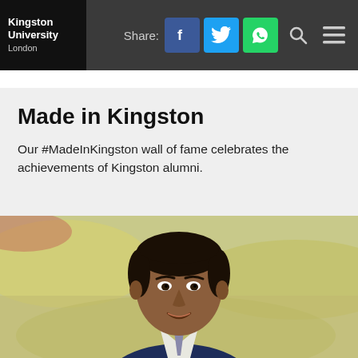Kingston University London | Share:
Made in Kingston
Our #MadeInKingston wall of fame celebrates the achievements of Kingston alumni.
[Figure (photo): Portrait photo of a young man in a navy blue suit and white shirt, smiling, with a blurred green and beige background.]